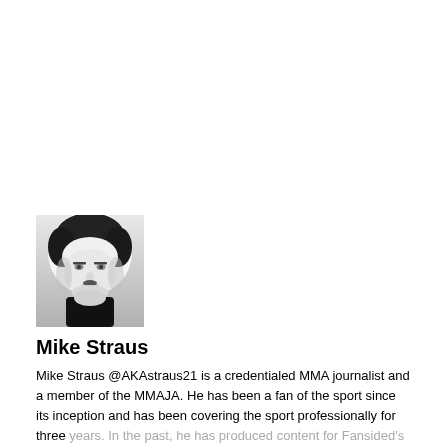[Figure (photo): Black and white headshot photo of Mike Straus]
Mike Straus
Mike Straus @AKAstraus21 is a credentialed MMA journalist and a member of the MMAJA. He has been a fan of the sport since its inception and has been covering the sport professionally for three years. In the past, he has produced content for Fansided's Cagepages, mma-media.com, and Combatpress.com. He currently contributes for MyMMANews.com, he is a staff writer for